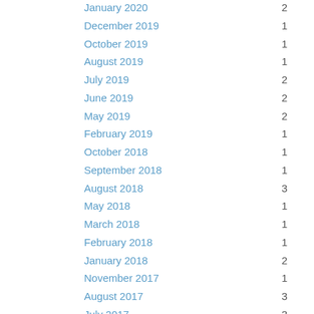January 2020  2
December 2019  1
October 2019  1
August 2019  1
July 2019  2
June 2019  2
May 2019  2
February 2019  1
October 2018  1
September 2018  1
August 2018  3
May 2018  1
March 2018  1
February 2018  1
January 2018  2
November 2017  1
August 2017  3
July 2017  3
June 2017  1
May 2017  6
April 2017  2